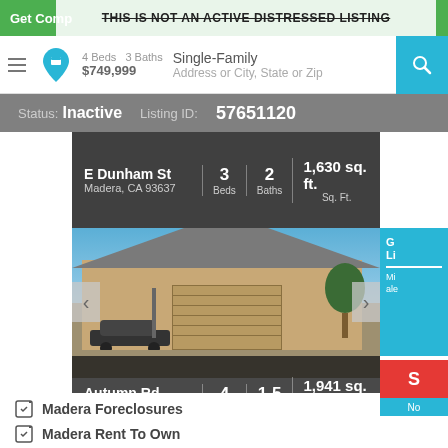Get Comp... THIS IS NOT AN ACTIVE DISTRESSED LISTING
4 Beds  3 Baths  Single-Family
$749,999
Address or City, State or Zip
Status: Inactive  Listing ID: 57651120
[Figure (photo): Listing card for E Dunham St, Madera CA 93637 — 3 Beds, 2 Baths, 1,630 sq. ft.]
[Figure (photo): Photo of single-family home on Autumn Rd, Madera CA 93637 — 4 Beds, 1.5 Baths, 1,941 sq. ft.]
Madera Foreclosures
Madera Rent To Own